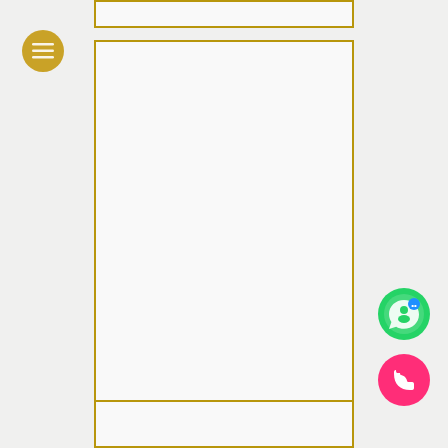[Figure (screenshot): Top card panel with gold border, mostly white background, partially visible at top]
[Figure (screenshot): Large central card panel with gold border, white background, empty content area]
[Figure (screenshot): Bottom card panel with gold border, partially visible at bottom]
[Figure (illustration): Gold/yellow circular menu hamburger button on the left side]
[Figure (illustration): Green circular WhatsApp-style chat icon button on the bottom right]
[Figure (illustration): Pink/red circular phone icon button on the bottom right]